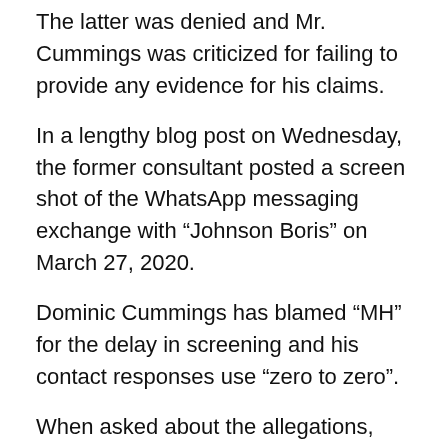The latter was denied and Mr. Cummings was criticized for failing to provide any evidence for his claims.
In a lengthy blog post on Wednesday, the former consultant posted a screen shot of the WhatsApp messaging exchange with “Johnson Boris” on March 27, 2020.
Dominic Cummings has blamed “MH” for the delay in screening and his contact responses use “zero to zero”.
When asked about the allegations, Boris Johnson’s spokesman declined to comment on “every allegation” and reiterated his confidence in Matt Hancock: “The Prime Minister has worked very closely with the Minister of Health and will continue to do so.”
Six months after his departure in the wake of internal